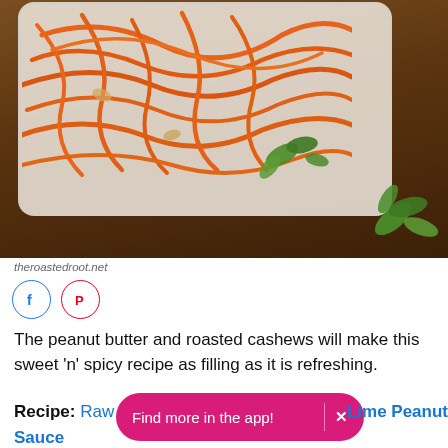[Figure (photo): Photo of spiralized carrot noodles with peanut sauce on a white plate, garnished with fresh cilantro, on a wooden board background]
theroastedroot.net
[Figure (infographic): Social media share icons: Facebook (blue circle) and Pinterest (red circle)]
The peanut butter and roasted cashews will make this sweet 'n' spicy recipe as filling as it is refreshing.
Recipe: Raw Carrot Noodles with Ginger Lime Peanut Sauce
Find more in the app! ✕